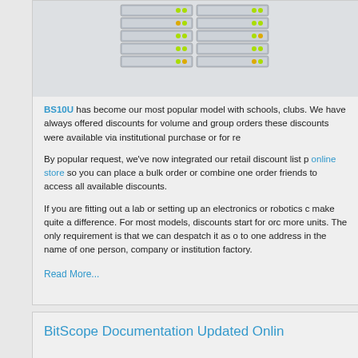[Figure (photo): Stack of BitScope BS10U server/rack units arranged in a grid formation, viewed from an angle, with green and yellow LED indicators visible]
BS10U has become our most popular model with schools, clubs. We have always offered discounts for volume and group orders these discounts were available via institutional purchase or for re
By popular request, we've now integrated our retail discount list p online store so you can place a bulk order or combine one order friends to access all available discounts.
If you are fitting out a lab or setting up an electronics or robotics c make quite a difference. For most models, discounts start for orc more units. The only requirement is that we can despatch it as o to one address in the name of one person, company or institution factory.
Read More...
BitScope Documentation Updated Onlin